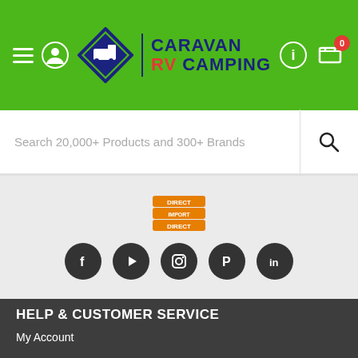Caravan RV Camping - navigation header with logo, hamburger menu, user icon, info icon, and cart with 0 items
Search 20,000+ Products and 300+ Brands
[Figure (logo): Direct Import Direct badge/logo in orange]
[Figure (infographic): Social media icons: Facebook, YouTube, Instagram, Pinterest, LinkedIn]
HELP & CUSTOMER SERVICE
My Account
Track Order
Delivery Info
Warranty Info
General FAQs